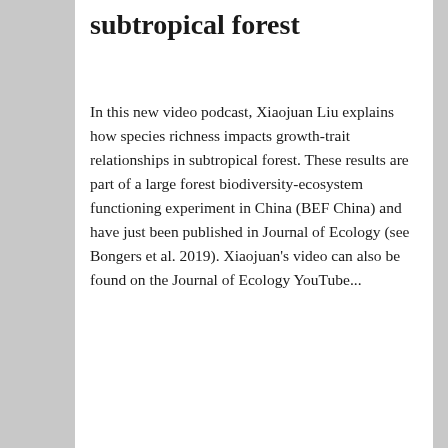subtropical forest
In this new video podcast, Xiaojuan Liu explains how species richness impacts growth-trait relationships in subtropical forest. These results are part of a large forest biodiversity-ecosystem functioning experiment in China (BEF China) and have just been published in Journal of Ecology (see Bongers et al. 2019). Xiaojuan's video can also be found on the Journal of Ecology YouTube...
September 2, 2019 in Early Career Scientist, Podcast, Video.
[Figure (photo): Photo of people at what appears to be a conference or exhibition booth area with green and dark-colored booths/displays. People are standing and walking around the exhibition space.]